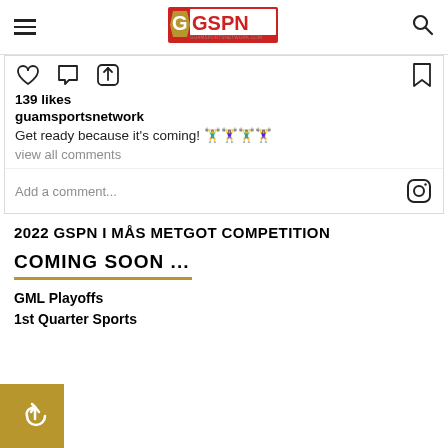GSPN - Guam Sports Network
139 likes
guamsportsnetwork
Get ready because it's coming! 🏋️‍♂️🏋️‍♀️🏋️‍♂️🏋️‍♀️
view all comments
Add a comment...
2022 GSPN I MÅS METGOT COMPETITION
COMING SOON ...
GML Playoffs
1st Quarter Sports